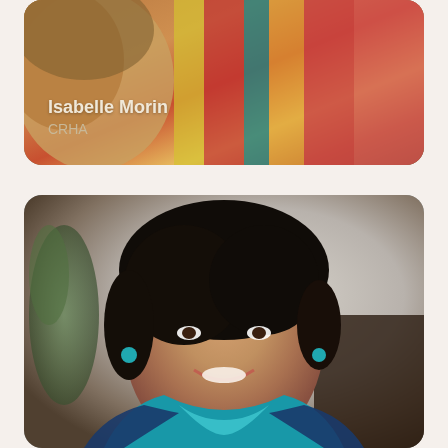[Figure (photo): Top card: partial photo of Isabelle Morin holding or near colorful books/fabric with warm tones of red, yellow, teal; name overlay reads 'Isabelle Morin' with credential 'CRHA']
Isabelle Morin
CRHA
[Figure (photo): Bottom card: professional portrait photo of a woman with short dark hair, teal earrings, wearing a blue/teal patterned top with a teal collar, smiling, against a grey/neutral blurred background]